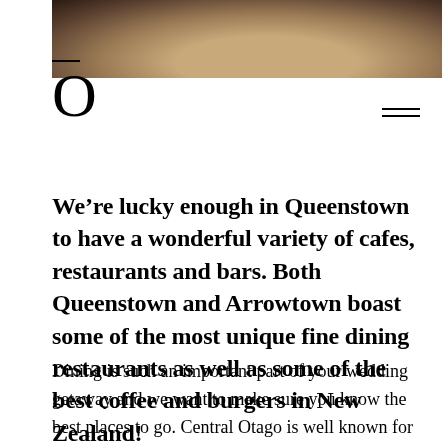[Figure (photo): Close-up photo of a cappuccino or latte coffee cup from above, showing the frothy surface and bowl/cup rim]
O
We’re lucky enough in Queenstown to have a wonderful variety of cafes, restaurants and bars. Both Queenstown and Arrowtown boast some of the most unique fine dining restaurants as well as some of the best coffee and burgers in New Zealand!
Dining is such an important part of your wedding getaway and we want to make sure you know the best places to go. Central Otago is well known for its wine, amazing local produce and a huge range of